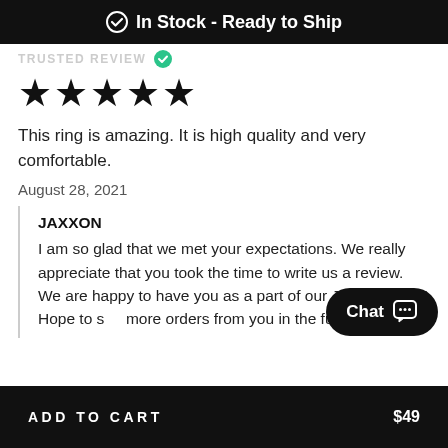In Stock - Ready to Ship
TRUSTED REVIEW
[Figure (other): Five black star rating icons]
This ring is amazing. It is high quality and very comfortable.
August 28, 2021
JAXXON
I am so glad that we met your expectations. We really appreciate that you took the time to write us a review. We are happy to have you as a part of our JAXXON fam! Hope to see more orders from you in the future.
[Figure (other): Chat button with speech bubble icon]
ADD TO CART   $49